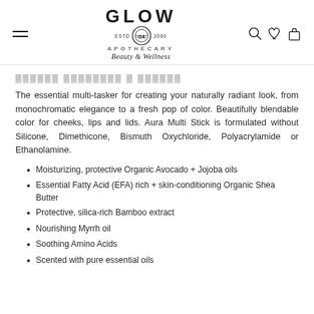GLOW APOTHECARY Beauty & Wellness
(partial title — cropped)
The essential multi-tasker for creating your naturally radiant look, from monochromatic elegance to a fresh pop of color. Beautifully blendable color for cheeks, lips and lids. Aura Multi Stick is formulated without Silicone, Dimethicone, Bismuth Oxychloride, Polyacrylamide or Ethanolamine.
Moisturizing, protective Organic Avocado + Jojoba oils
Essential Fatty Acid (EFA) rich + skin-conditioning Organic Shea Butter
Protective, silica-rich Bamboo extract
Nourishing Myrrh oil
Soothing Amino Acids
Scented with pure essential oils